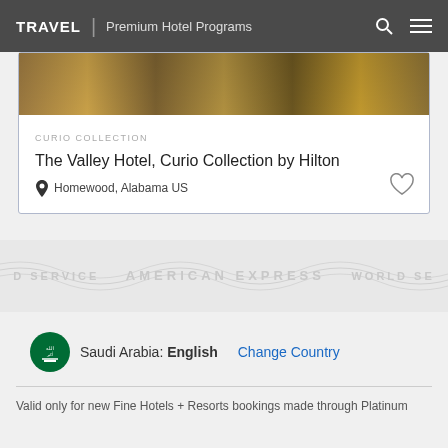TRAVEL | Premium Hotel Programs
[Figure (photo): Hotel interior photo showing warm ambient lighting]
CURIO COLLECTION
The Valley Hotel, Curio Collection by Hilton
Homewood, Alabama US
[Figure (other): American Express watermark band with text: D SERVICE, AMERICAN EXPRESS, WORLD SE]
Saudi Arabia: English  Change Country
Valid only for new Fine Hotels + Resorts bookings made through Platinum